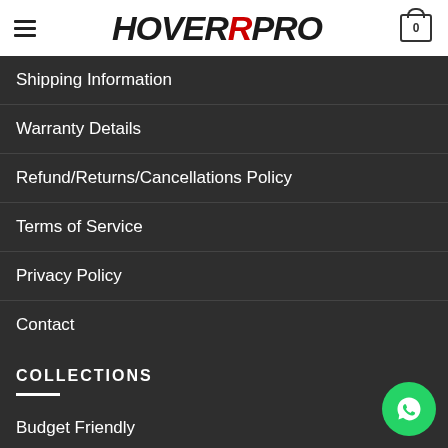[Figure (logo): HoverPro logo with hamburger menu and cart icon in white header bar]
Shipping Information
Warranty Details
Refund/Returns/Cancellations Policy
Terms of Service
Privacy Policy
Contact
COLLECTIONS
Budget Friendly
Outdoor Cruisers